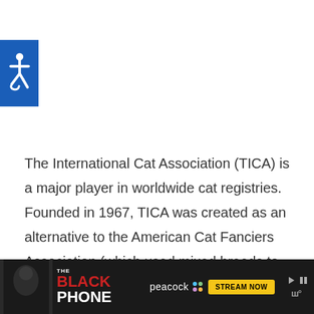[Figure (logo): Blue square with white wheelchair accessibility icon]
The International Cat Association (TICA) is a major player in worldwide cat registries. Founded in 1967, TICA was created as an alternative to the American Cat Fanciers Association (which used mixed breeds to register their cats).
[Figure (screenshot): Advertisement banner for 'The Black Phone' on Peacock streaming service with 'STREAM NOW' button]